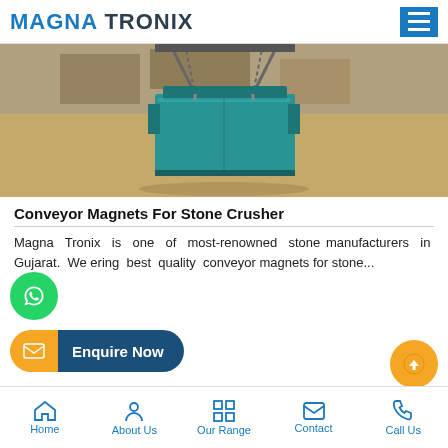MAGNA TRONIX
[Figure (photo): Teal-colored conveyor magnet for stone crusher, suspended by chains in a factory/warehouse setting]
Conveyor Magnets For Stone Crusher
Magna Tronix is one of most-renowned stone manufacturers in Gujarat. We ering best quality conveyor magnets for stone...
Home  About Us  Our Range  Contact  Call Us